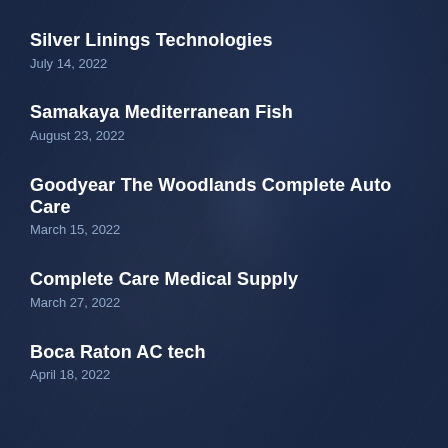Silver Linings Technologies
July 14, 2022
Samakaya Mediterranean Fish
August 23, 2022
Goodyear The Woodlands Complete Auto Care
March 15, 2022
Complete Care Medical Supply
March 27, 2022
Boca Raton AC tech
April 18, 2022